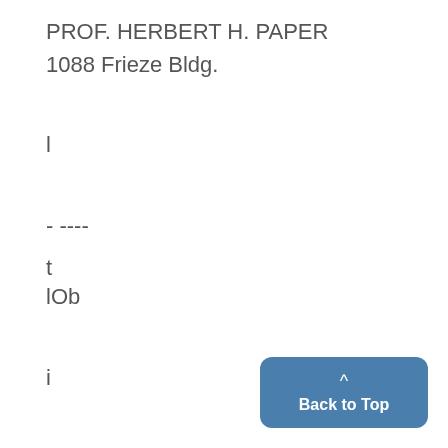PROF. HERBERT H. PAPER
1088 Frieze Bldg.
l
- ----
t
lOb
i
:
1C f}?"
: